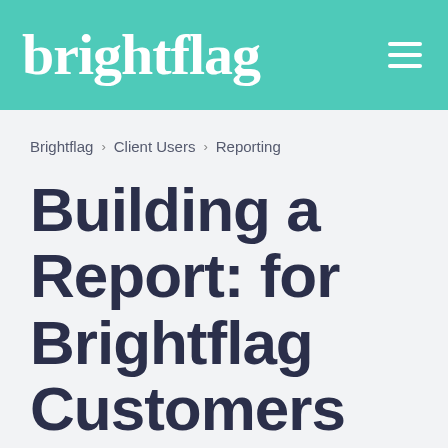brightflag
Brightflag > Client Users > Reporting
Building a Report: for Brightflag Customers (Clients)